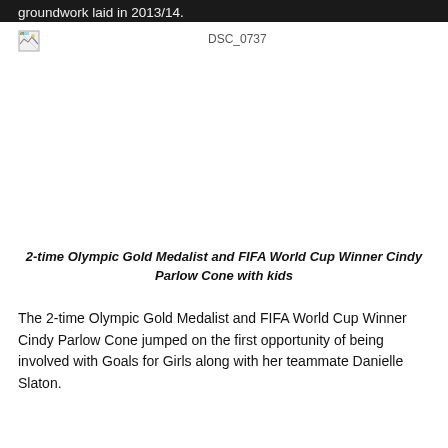groundwork laid in 2013/14.
[Figure (photo): Broken/missing image placeholder with filename DSC_0737 shown to the right]
2-time Olympic Gold Medalist and FIFA World Cup Winner Cindy Parlow Cone with kids
The 2-time Olympic Gold Medalist and FIFA World Cup Winner Cindy Parlow Cone jumped on the first opportunity of being involved with Goals for Girls along with her teammate Danielle Slaton.